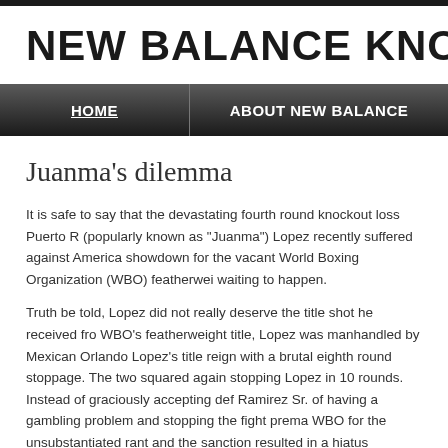NEW BALANCE KNOXVILL
HOME
ABOUT NEW BALANCE
Juanma's dilemma
It is safe to say that the devastating fourth round knockout loss Puerto R (popularly known as "Juanma") Lopez recently suffered against America showdown for the vacant World Boxing Organization (WBO) featherwei waiting to happen.
Truth be told, Lopez did not really deserve the title shot he received fro WBO's featherweight title, Lopez was manhandled by Mexican Orlando Lopez's title reign with a brutal eighth round stoppage. The two squared again stopping Lopez in 10 rounds. Instead of graciously accepting def Ramirez Sr. of having a gambling problem and stopping the fight prema WBO for the unsubstantiated rant and the sanction resulted in a hiatus
Lopez did not return to the ring until this February when he feasted on